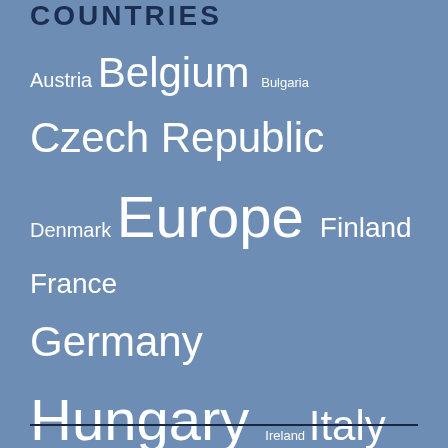COUNTRIES
Austria Belgium Bulgaria Czech Republic Denmark Europe Finland France Germany Hungary Ireland Italy Netherlands Norway Poland Portugal Romania Russia Slovakia Spain Sweden Switzerland Turkey Ukraine United Kingdom United States World